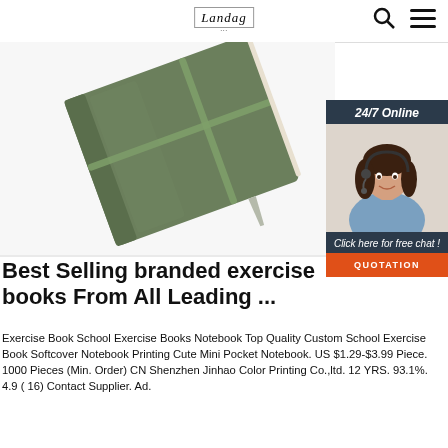Landag (logo)
[Figure (photo): Green hardcover notebook with elastic band closure and ribbon bookmark, angled top-down view on white background]
[Figure (infographic): 24/7 Online chat widget with customer service representative photo, 'Click here for free chat!' text and orange QUOTATION button]
Best Selling branded exercise books From All Leading ...
Exercise Book School Exercise Books Notebook Top Quality Custom School Exercise Book Softcover Notebook Printing Cute Mini Pocket Notebook. US $1.29-$3.99 Piece. 1000 Pieces (Min. Order) CN Shenzhen Jinhao Color Printing Co.,ltd. 12 YRS. 93.1%. 4.9 ( 16) Contact Supplier. Ad.